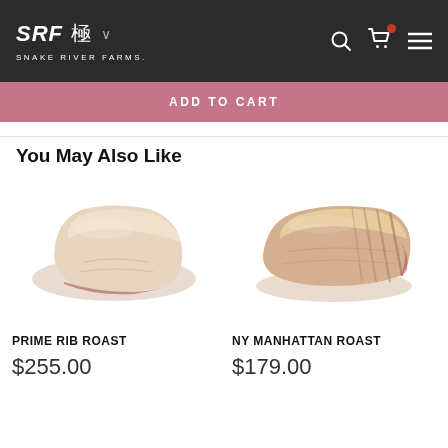SRF 極 SNAKE RIVER FARMS.
ADD TO CART
You May Also Like
[Figure (photo): Photo of a Prime Rib Roast beef cut on white background]
PRIME RIB ROAST
$255.00
[Figure (photo): Photo of a NY Manhattan Roast beef cut on white background]
NY MANHATTAN ROAST
$179.00